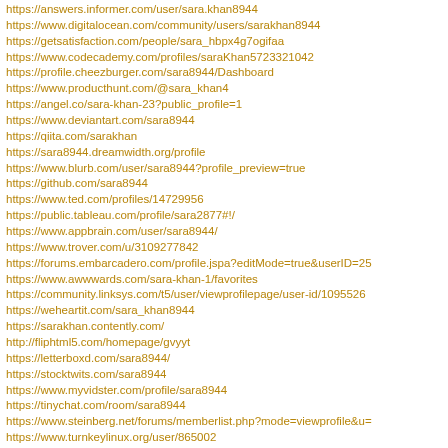https://answers.informer.com/user/sara.khan8944
https://www.digitalocean.com/community/users/sarakhan8944
https://getsatisfaction.com/people/sara_hbpx4g7ogifaa
https://www.codecademy.com/profiles/saraKhan5723321042
https://profile.cheezburger.com/sara8944/Dashboard
https://www.producthunt.com/@sara_khan4
https://angel.co/sara-khan-23?public_profile=1
https://www.deviantart.com/sara8944
https://qiita.com/sarakhan
https://sara8944.dreamwidth.org/profile
https://www.blurb.com/user/sara8944?profile_preview=true
https://github.com/sara8944
https://www.ted.com/profiles/14729956
https://public.tableau.com/profile/sara2877#!/
https://www.appbrain.com/user/sara8944/
https://www.trover.com/u/3109277842
https://forums.embarcadero.com/profile.jspa?editMode=true&userID=25
https://www.awwwards.com/sara-khan-1/favorites
https://community.linksys.com/t5/user/viewprofilepage/user-id/1095526
https://weheartit.com/sara_khan8944
https://sarakhan.contently.com/
http://fliphtml5.com/homepage/gvyyt
https://letterboxd.com/sara8944/
https://stocktwits.com/sara8944
https://www.myvidster.com/profile/sara8944
https://tinychat.com/room/sara8944
https://www.steinberg.net/forums/memberlist.php?mode=viewprofile&u=
https://www.turnkeylinux.org/user/865002